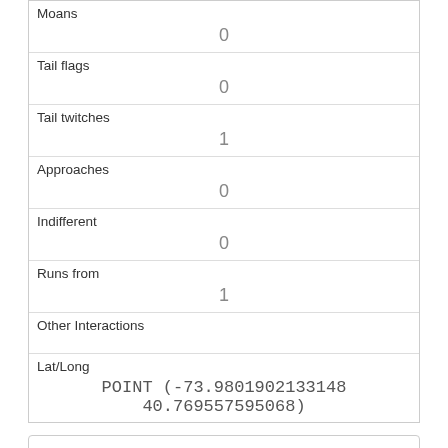| Field | Value |
| --- | --- |
| Moans | 0 |
| Tail flags | 0 |
| Tail twitches | 1 |
| Approaches | 0 |
| Indifferent | 0 |
| Runs from | 1 |
| Other Interactions |  |
| Lat/Long | POINT (-73.9801902133148 40.769557595068) |
Advanced export